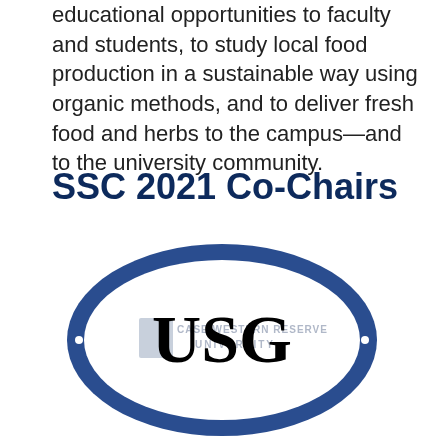educational opportunities to faculty and students, to study local food production in a sustainable way using organic methods, and to deliver fresh food and herbs to the campus—and to the university community.
SSC 2021 Co-Chairs
[Figure (logo): USG (Undergraduate Student Government) oval logo for Case Western Reserve University with blue border, white text around the oval reading 'Undergraduate Student Government' on top and 'Case Western Reserve University' on bottom, with 'USG' in large black serif text in the center and the Case Western Reserve University wordmark watermark behind it.]